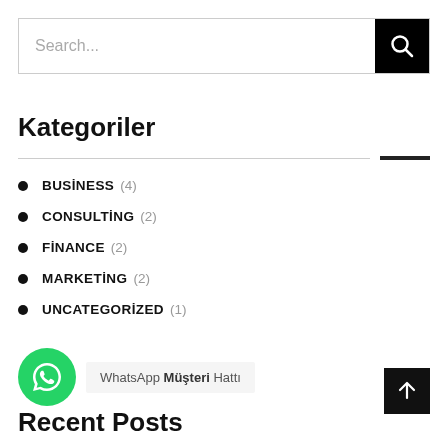[Figure (screenshot): Search bar with text 'Search...' and a black search button icon on the right]
Kategoriler
BUSİNESS (4)
CONSULTİNG (2)
FİNANCE (2)
MARKETİNG (2)
UNCATEGORİZED (1)
[Figure (screenshot): WhatsApp green circular icon with phone/chat symbol, and a label 'WhatsApp Müşteri Hattı']
Recent Posts